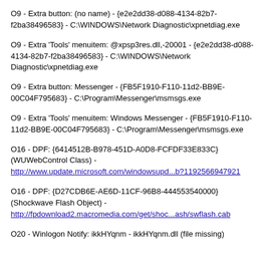O9 - Extra button: (no name) - {e2e2dd38-d088-4134-82b7-f2ba38496583} - C:\WINDOWS\Network Diagnostic\xpnetdiag.exe
O9 - Extra 'Tools' menuitem: @xpsp3res.dll,-20001 - {e2e2dd38-d088-4134-82b7-f2ba38496583} - C:\WINDOWS\Network Diagnostic\xpnetdiag.exe
O9 - Extra button: Messenger - {FB5F1910-F110-11d2-BB9E-00C04F795683} - C:\Program\Messenger\msmsgs.exe
O9 - Extra 'Tools' menuitem: Windows Messenger - {FB5F1910-F110-11d2-BB9E-00C04F795683} - C:\Program\Messenger\msmsgs.exe
O16 - DPF: {6414512B-B978-451D-A0D8-FCFDF33E833C} (WUWebControl Class) - http://www.update.microsoft.com/windowsupd...b?1192566947921
O16 - DPF: {D27CDB6E-AE6D-11CF-96B8-444553540000} (Shockwave Flash Object) - http://fpdownload2.macromedia.com/get/shoc...ash/swflash.cab
O20 - Winlogon Notify: ikkHYqnm - ikkHYqnm.dll (file missing)